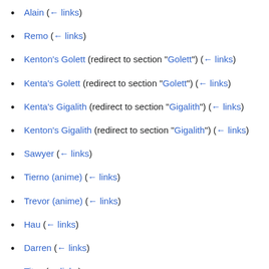Alain  (← links)
Remo  (← links)
Kenton's Golett (redirect to section "Golett")  (← links)
Kenta's Golett (redirect to section "Golett")  (← links)
Kenta's Gigalith (redirect to section "Gigalith")  (← links)
Kenton's Gigalith (redirect to section "Gigalith")  (← links)
Sawyer  (← links)
Tierno (anime)  (← links)
Trevor (anime)  (← links)
Hau  (← links)
Darren  (← links)
Titus  (← links)